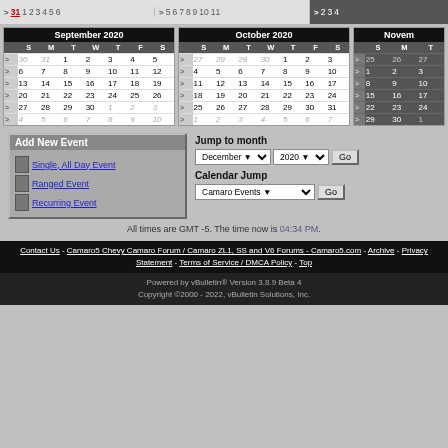|  | S | M | T | W | T | F | S |
| --- | --- | --- | --- | --- | --- | --- | --- |
| > | 30 | 31 | 1 | 2 | 3 | 4 | 5 |
| > | 6 | 7 | 8 | 9 | 10 | 11 | 12 |
| > | 13 | 14 | 15 | 16 | 17 | 18 | 19 |
| > | 20 | 21 | 22 | 23 | 24 | 25 | 26 |
| > | 27 | 28 | 29 | 30 | 1 | 2 | 3 |
| > | 4 | 5 | 6 | 7 | 8 | 9 | 10 |
|  | S | M | T | W | T | F | S |
| --- | --- | --- | --- | --- | --- | --- | --- |
| > | 27 | 28 | 29 | 30 | 1 | 2 | 3 |
| > | 4 | 5 | 6 | 7 | 8 | 9 | 10 |
| > | 11 | 12 | 13 | 14 | 15 | 16 | 17 |
| > | 18 | 19 | 20 | 21 | 22 | 23 | 24 |
| > | 25 | 26 | 27 | 28 | 29 | 30 | 31 |
| > | 1 | 2 | 3 | 4 | 5 | 6 | 7 |
|  | S | M | T | W | T |
| --- | --- | --- | --- | --- | --- |
| > | 25 | 26 | 27 |
| > | 1 | 2 | 3 |
| > | 8 | 9 | 10 |
| > | 15 | 16 | 17 |
| > | 22 | 23 | 24 |
| > | 29 | 30 | 1 |
Add New Event
Single, All Day Event
Ranged Event
Recurring Event
Jump to month
Calendar Jump
All times are GMT -5. The time now is 04:34 PM.
Contact Us - Camaro5 Chevy Camaro Forum / Camaro ZL1, SS and V6 Forums - Camaro5.com - Archive - Privacy Statement - Terms of Service / DMCA Policy - Top
Powered by vBulletin® Version 3.8.9 Beta 4
Copyright ©2000 - 2022, vBulletin Solutions, Inc.